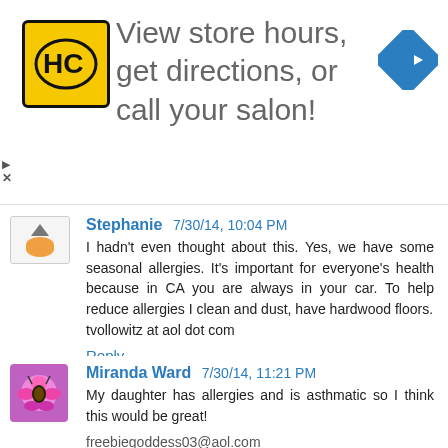[Figure (infographic): Advertisement banner: HC logo (yellow square with HC letters), text 'View store hours, get directions, or call your salon!', blue diamond navigation arrow icon on right. Small play and X controls on left edge.]
Stephanie 7/30/14, 10:04 PM
I hadn't even thought about this. Yes, we have some seasonal allergies. It's important for everyone's health because in CA you are always in your car. To help reduce allergies I clean and dust, have hardwood floors.
tvollowitz at aol dot com
Reply
Miranda Ward 7/30/14, 11:21 PM
My daughter has allergies and is asthmatic so I think this would be great!

freebiegoddess03@aol.com
Reply